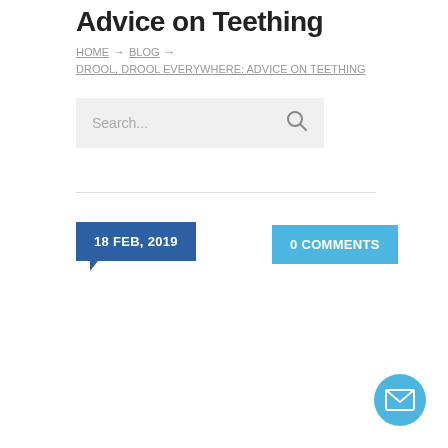Advice on Teething
HOME → BLOG → DROOL, DROOL EVERYWHERE: ADVICE ON TEETHING
[Figure (other): Search bar with text 'Search...' and a magnifying glass icon]
18 FEB, 2019
0 COMMENTS
[Figure (other): Mail/envelope contact button (circular blue button) in bottom right corner]